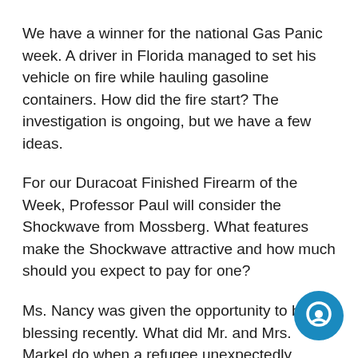We have a winner for the national Gas Panic week. A driver in Florida managed to set his vehicle on fire while hauling gasoline containers. How did the fire start? The investigation is ongoing, but we have a few ideas.
For our Duracoat Finished Firearm of the Week, Professor Paul will consider the Shockwave from Mossberg. What features make the Shockwave attractive and how much should you expect to pay for one?
Ms. Nancy was given the opportunity to be a blessing recently. What did Mr. and Mrs. Markel do when a refugee unexpectedly appeared on their doorstep? Tune in and find out.
[Figure (illustration): Blue circular chat/message bubble icon in bottom-right corner]